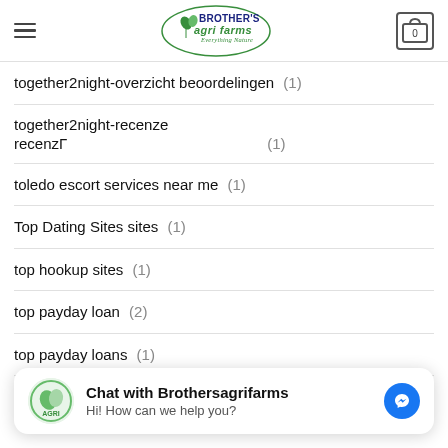Brother's Agri Farms - Everything Nature
together2night-overzicht beoordelingen (1)
together2night-recenze recenzГ (1)
toledo escort services near me (1)
Top Dating Sites sites (1)
top hookup sites (1)
top payday loan (2)
top payday loans (1)
Chat with Brothersagrifarms
Hi! How can we help you?